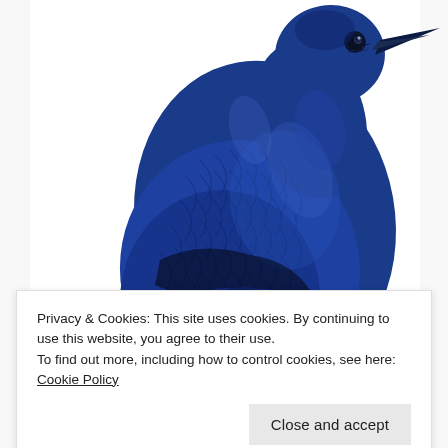[Figure (illustration): A detailed illustration of a blue raven/crow bird with vivid blue feathers, shown from the side/three-quarter view against a white background. The bird has detailed feather textures with dark blue and navy tones, a sharp black beak, and a visible eye.]
Privacy & Cookies: This site uses cookies. By continuing to use this website, you agree to their use.
To find out more, including how to control cookies, see here: Cookie Policy
Close and accept